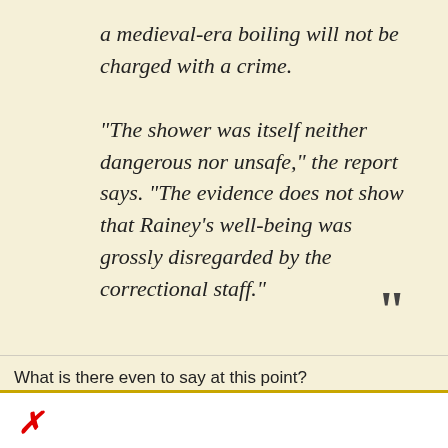a medieval-era boiling will not be charged with a crime.
“The shower was itself neither dangerous nor unsafe,” the report says. “The evidence does not show that Rainey’s well-being was grossly disregarded by the correctional staff.”
What is there even to say at this point?
Florida, police violence